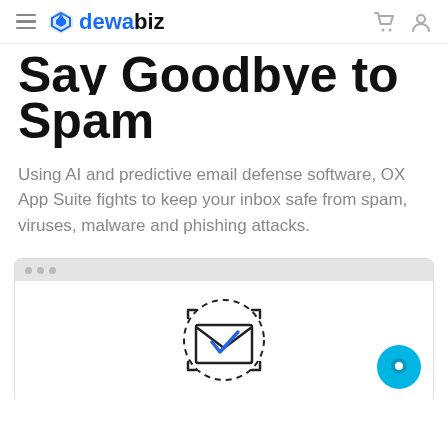dewabiz navigation header
Say Goodbye to Spam
Using AI and predictive email defense software, OX App Suite fights to keep your inbox safe from spam, viruses, malware and phishing attacks.
[Figure (screenshot): Browser window mockup showing an email interface with a shield/envelope icon with a checkmark, and a chat bubble button in the bottom right corner.]